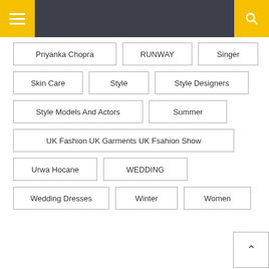Navigation header with menu and search buttons
Priyanka Chopra
RUNWAY
Singer
Skin Care
Style
Style Designers
Style Models And Actors
Summer
UK Fashion UK Garments UK Fsahion Show
Urwa Hocane
WEDDING
Wedding Dresses
Winter
Women